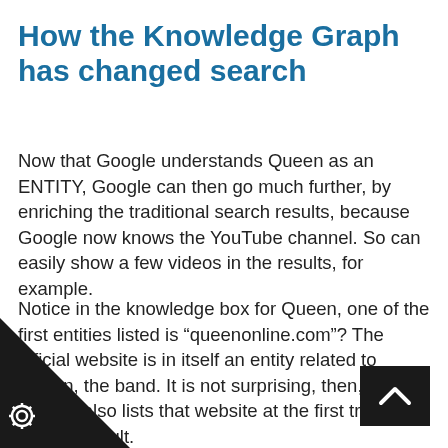How the Knowledge Graph has changed search
Now that Google understands Queen as an ENTITY, Google can then go much further, by enriching the traditional search results, because Google now knows the YouTube channel. So can easily show a few videos in the results, for example.
Notice in the knowledge box for Queen, one of the first entities listed is “queenonline.com”? The official website is in itself an entity related to Queen, the band. It is not surprising, then, that Google also lists that website at the first traditional organic result.